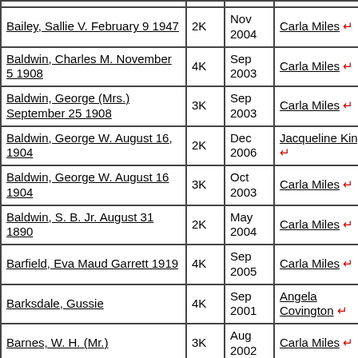| Name / Date | Size | Date | Editor |
| --- | --- | --- | --- |
| Bailey, Sallie V. February 9 1947 | 2K | Nov 2004 | Carla Miles ↵ |
| Baldwin, Charles M. November 5 1908 | 4K | Sep 2003 | Carla Miles ↵ |
| Baldwin, George (Mrs.) September 25 1908 | 3K | Sep 2003 | Carla Miles ↵ |
| Baldwin, George W. August 16, 1904 | 2K | Dec 2006 | Jacqueline King ↵ |
| Baldwin, George W. August 16 1904 | 3K | Oct 2003 | Carla Miles ↵ |
| Baldwin, S. B. Jr. August 31 1890 | 2K | May 2004 | Carla Miles ↵ |
| Barfield, Eva Maud Garrett 1919 | 4K | Sep 2005 | Carla Miles ↵ |
| Barksdale, Gussie | 4K | Sep 2001 | Angela Covington ↵ |
| Barnes, W. H. (Mr.) | 3K | Aug 2002 | Carla Miles ↵ |
| Bassett, Eugene | 4K | Sep 2001 | Angela Covington ↵ |